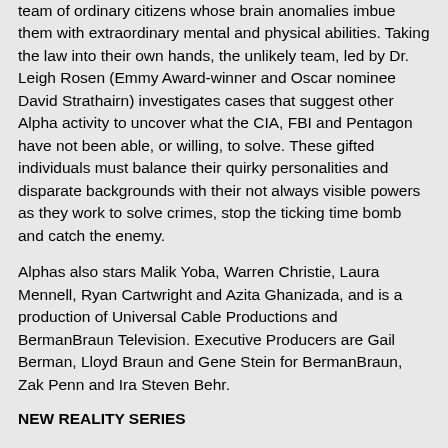team of ordinary citizens whose brain anomalies imbue them with extraordinary mental and physical abilities. Taking the law into their own hands, the unlikely team, led by Dr. Leigh Rosen (Emmy Award-winner and Oscar nominee David Strathairn) investigates cases that suggest other Alpha activity to uncover what the CIA, FBI and Pentagon have not been able, or willing, to solve. These gifted individuals must balance their quirky personalities and disparate backgrounds with their not always visible powers as they work to solve crimes, stop the ticking time bomb and catch the enemy.
Alphas also stars Malik Yoba, Warren Christie, Laura Mennell, Ryan Cartwright and Azita Ghanizada, and is a production of Universal Cable Productions and BermanBraun Television. Executive Producers are Gail Berman, Lloyd Braun and Gene Stein for BermanBraun, Zak Penn and Ira Steven Behr.
NEW REALITY SERIES